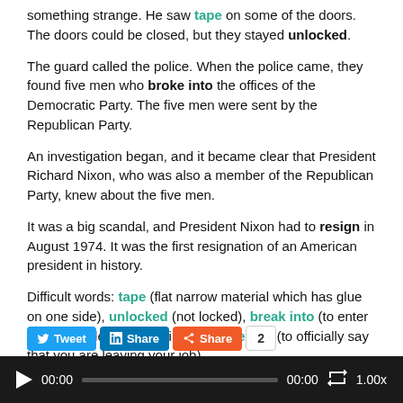something strange. He saw tape on some of the doors. The doors could be closed, but they stayed unlocked.
The guard called the police. When the police came, they found five men who broke into the offices of the Democratic Party. The five men were sent by the Republican Party.
An investigation began, and it became clear that President Richard Nixon, who was also a member of the Republican Party, knew about the five men.
It was a big scandal, and President Nixon had to resign in August 1974. It was the first resignation of an American president in history.
Difficult words: tape (flat narrow material which has glue on one side), unlocked (not locked), break into (to enter a building illegally by using force), resign (to officially say that you are leaving your job).
Tweet Share Share 2 | 00:00 00:00 1.00x